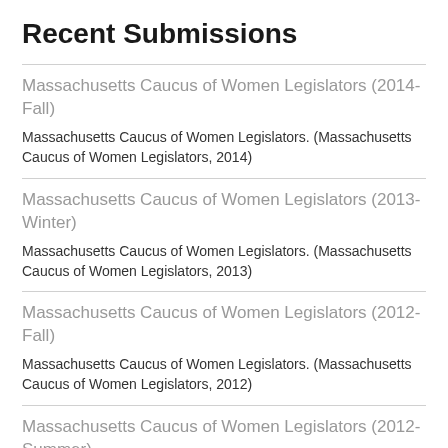Recent Submissions
Massachusetts Caucus of Women Legislators (2014-Fall)
Massachusetts Caucus of Women Legislators. (Massachusetts Caucus of Women Legislators, 2014)
Massachusetts Caucus of Women Legislators (2013-Winter)
Massachusetts Caucus of Women Legislators. (Massachusetts Caucus of Women Legislators, 2013)
Massachusetts Caucus of Women Legislators (2012-Fall)
Massachusetts Caucus of Women Legislators. (Massachusetts Caucus of Women Legislators, 2012)
Massachusetts Caucus of Women Legislators (2012-Summer)
Massachusetts Caucus of Women Legislators. (Massachusetts Caucus of Women Legislators, 2012)